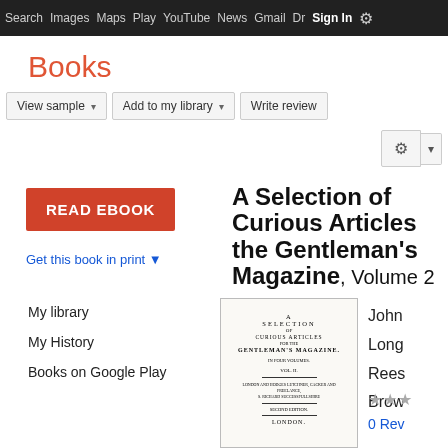Search  Images  Maps  Play  YouTube  News  Gmail  Drive  More  Sign In  ⚙
Books
View sample ▾   Add to my library ▾   Write review
READ EBOOK
Get this book in print ▼
My library
My History
Books on Google Play
A Selection of Curious Articles the Gentleman's Magazine, Volume 2
[Figure (photo): Scanned title page of 'A Selection of Curious Articles from the Gentleman's Magazine, In Four Volumes' - Second Edition, London]
John Lon Rees Brow
★★★
0 Rev